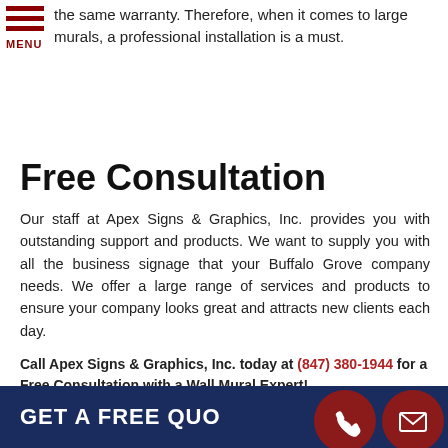the same warranty. Therefore, when it comes to large murals, a professional installation is a must.
MENU
Free Consultation
Our staff at Apex Signs & Graphics, Inc. provides you with outstanding support and products. We want to supply you with all the business signage that your Buffalo Grove company needs. We offer a large range of services and products to ensure your company looks great and attracts new clients each day.
Call Apex Signs & Graphics, Inc. today at (847) 380-1944 for a Free Consultation with a Wall Mural Expert!
GET A FREE QUOTE